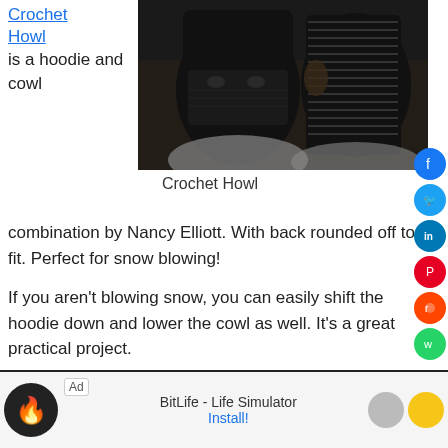Crochet Howl is a hoodie and cowl
[Figure (photo): Two people wearing black crochet howl hoods covering their faces, one showing the full face-covering style and the other showing the side view of the ribbed hood structure.]
Crochet Howl
combination by Nancy Elliott. With back rounded off to fit. Perfect for snow blowing!
If you aren't blowing snow, you can easily shift the hoodie down and lower the cowl as well. It's a great practical project.
Ad
BitLife - Life Simulator
Install!